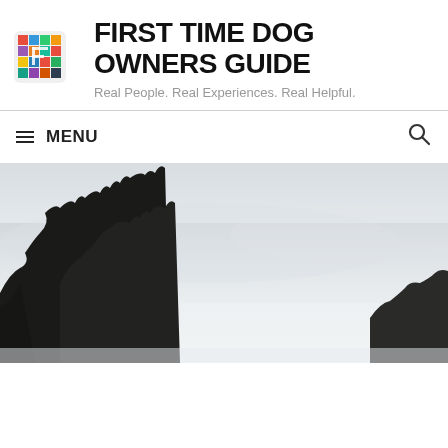[Figure (logo): Colorful grid/mosaic logo icon for First Time Dog Owners Guide]
FIRST TIME DOG OWNERS GUIDE
Real People. Real Experiences. Real Helpful.
MENU
[Figure (photo): Outdoor winter scene with bare trees silhouetted against a gray overcast sky, snowy landscape]